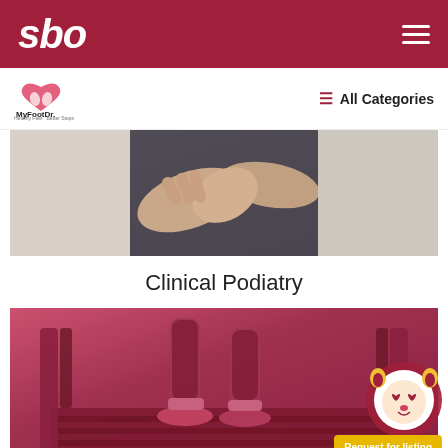sbo
[Figure (logo): MyFootDr. logo with heart/feet icon and tagline]
≡  All Categories
[Figure (photo): Close-up photo of a person holding/examining their foot, clinical podiatry context]
Clinical Podiatry
[Figure (photo): Person walking on a treadmill, pink/rose tinted photo, with a lion mascot icon and 'Request for listing' button overlay]